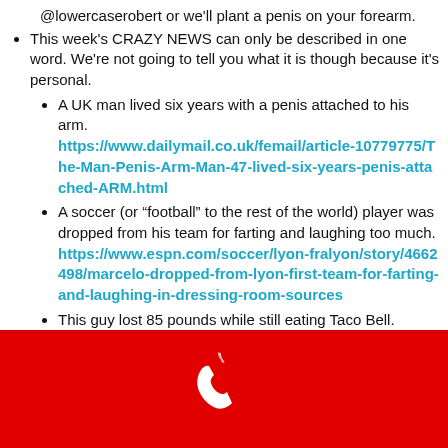@lowercaserobert or we'll plant a penis on your forearm.
This week's CRAZY NEWS can only be described in one word. We're not going to tell you what it is though because it's personal.
A UK man lived six years with a penis attached to his arm. https://www.dailymail.co.uk/femail/article-10779775/The-Man-Penis-Arm-Man-47-lived-six-years-penis-attached-ARM.html
A soccer (or “football” to the rest of the world) player was dropped from his team for farting and laughing too much. https://www.espn.com/soccer/lyon-fralyon/story/4662498/marcelo-dropped-from-lyon-first-team-for-farting-and-laughing-in-dressing-room-sources
This guy lost 85 pounds while still eating Taco Bell. Anything is possible!
[Figure (illustration): White telephone/phone handset icon on red background]